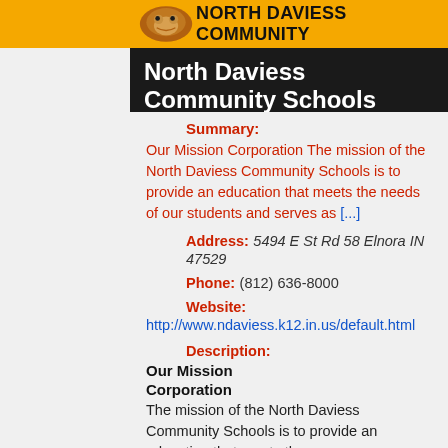[Figure (logo): North Daviess Community school banner with orange background, tiger mascot image on left, and bold text 'NORTH DAVIESS COMMUNITY' on right]
North Daviess Community Schools
Summary:
Our Mission Corporation The mission of the North Daviess Community Schools is to provide an education that meets the needs of our students and serves as [...]
Address: 5494 E St Rd 58 Elnora IN 47529
Phone: (812) 636-8000
Website:
http://www.ndaviess.k12.in.us/default.html
Description:
Our Mission
Corporation
The mission of the North Daviess Community Schools is to provide an education that meets the